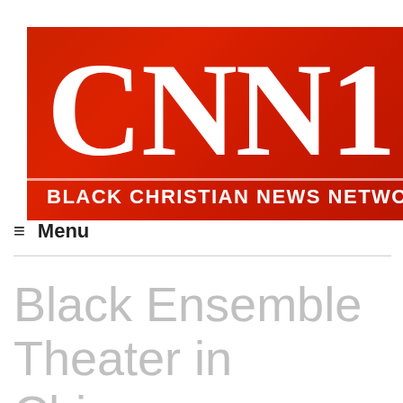[Figure (logo): CNN1 W — Black Christian News Network logo on red background with white serif text]
≡ Menu
Black Ensemble Theater in Chicago Showcases the Music of the Queen of